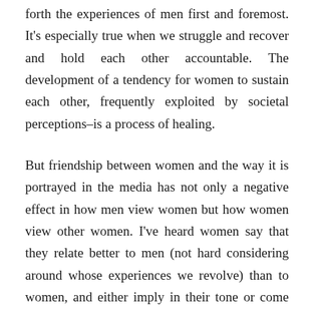forth the experiences of men first and foremost. It's especially true when we struggle and recover and hold each other accountable. The development of a tendency for women to sustain each other, frequently exploited by societal perceptions–is a process of healing.
But friendship between women and the way it is portrayed in the media has not only a negative effect in how men view women but how women view other women. I've heard women say that they relate better to men (not hard considering around whose experiences we revolve) than to women, and either imply in their tone or come straight out and say that women are untrustworthy, deceptive, petty, and overly complicated, despite the fact that anyone who's